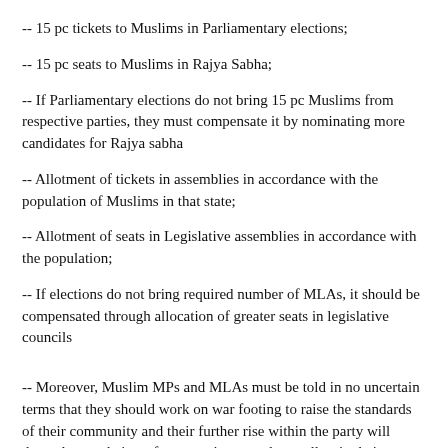-- 15 pc tickets to Muslims in Parliamentary elections;
-- 15 pc seats to Muslims in Rajya Sabha;
-- If Parliamentary elections do not bring 15 pc Muslims from respective parties, they must compensate it by nominating more candidates for Rajya sabha
-- Allotment of tickets in assemblies in accordance with the population of Muslims in that state;
-- Allotment of seats in Legislative assemblies in accordance with the population;
-- If elections do not bring required number of MLAs, it should be compensated through allocation of greater seats in legislative councils
-- Moreover, Muslim MPs and MLAs must be told in no uncertain terms that they should work on war footing to raise the standards of their community and their further rise within the party will depend upon their performance in general as well as in their respective constituencies.